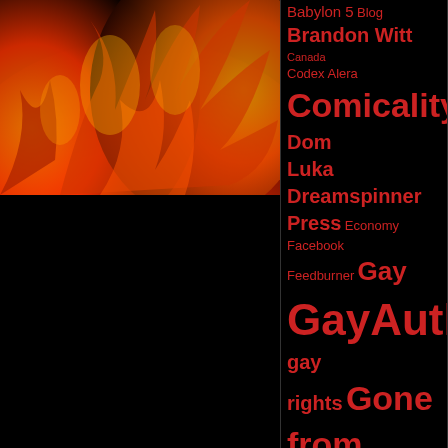[Figure (photo): Flame/fire abstract photo with orange and red flames on black background, upper left quadrant]
Babylon 5 Blog Brandon Witt Canada Codex Alera Comicality Dom Luka Dreamspinner Press Economy Facebook Feedburner Gay GayAuthors gay rights Gone from Daylight HIH HIV/AIDS Jamie de Valen Jim Butcher Left to Ashes Legendary Warrior Maine Mark's lament My Boyfriend is a Vampire My Editor News Nifty OpenID proposition 8 Rilbur Robin RSS same-sex marriage Star Trek Stephenie Meyer The Scrolls of Icaria Tweets Twilight Twitter
like som read By P marr the April Wo Firs by t to le So  Wha that veto By P